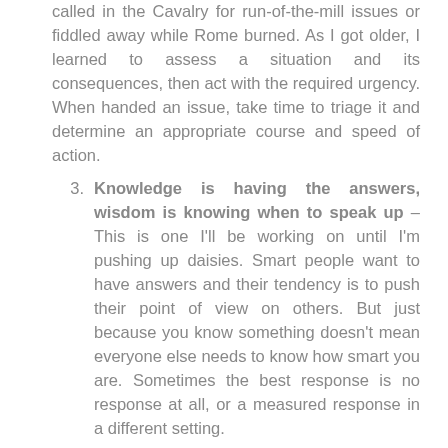called in the Cavalry for run-of-the-mill issues or fiddled away while Rome burned. As I got older, I learned to assess a situation and its consequences, then act with the required urgency. When handed an issue, take time to triage it and determine an appropriate course and speed of action.
3. Knowledge is having the answers, wisdom is knowing when to speak up – This is one I'll be working on until I'm pushing up daisies. Smart people want to have answers and their tendency is to push their point of view on others. But just because you know something doesn't mean everyone else needs to know how smart you are. Sometimes the best response is no response at all, or a measured response in a different setting.